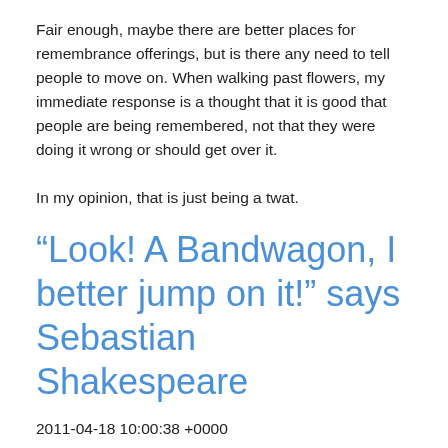Fair enough, maybe there are better places for remembrance offerings, but is there any need to tell people to move on. When walking past flowers, my immediate response is a thought that it is good that people are being remembered, not that they were doing it wrong or should get over it.

In my opinion, that is just being a twat.
“Look! A Bandwagon, I better jump on it!” says Sebastian Shakespeare
2011-04-18 10:00:38 +0000
Shakespeare was an excellent author of fiction. I fear Sebastian Shakespeare of the Evening Standard